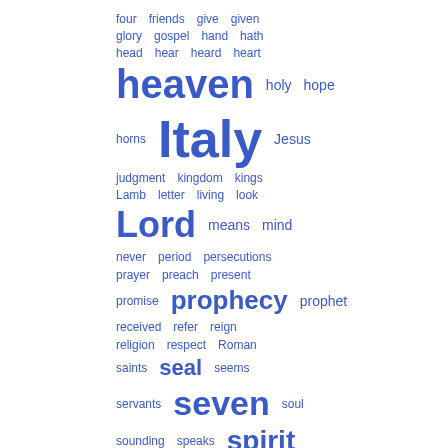[Figure (infographic): Word cloud displayed in the right half of the page. Words are shown in varying font sizes (indicating frequency) in blue color on white background. Words include: four, friends, give, given, glory, gospel, hand, hath, head, hear, heard, heart, heaven, holy, hope, horns, Italy, Jesus, judgment, kingdom, kings, Lamb, letter, living, look, Lord, means, mind, never, period, persecutions, prayer, preach, present, promise, prophecy, prophet, received, refer, reign, religion, respect, Roman, saints, seal, seems, servants, seven, soul, sounding, speaks, spirit, stand, success, suffered, taken, thee, things]